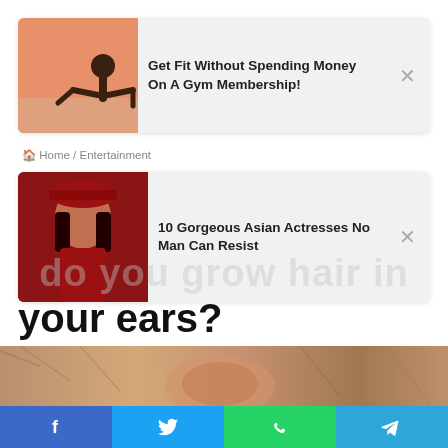[Figure (screenshot): Ad card: fitness woman doing plank on pink/orange background]
Get Fit Without Spending Money On A Gym Membership!
🏠 Home / Entertainment
[Figure (screenshot): Ad card: Asian woman in red hat and outfit]
10 Gorgeous Asian Actresses No Man Can Resist
do you grow hair in
your ears?
Dais Johnston · January 23, 2022 🔥 14
[Figure (screenshot): Social share buttons: Facebook, Twitter, LinkedIn, Tumblr, Pinterest, Reddit]
[Figure (photo): Close-up photo of a human ear with grey/blonde hair]
[Figure (screenshot): Bottom social bar: Facebook, Twitter, WhatsApp, Telegram icons]